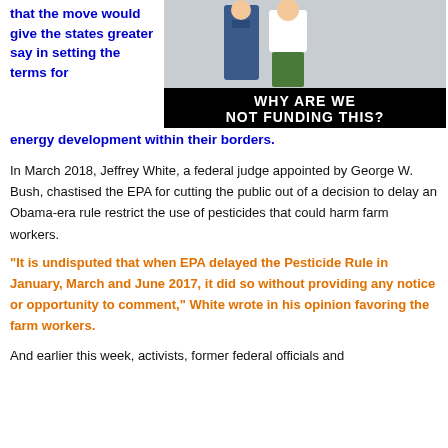that the move would give the states greater say in setting the terms for energy development within their borders.
[Figure (photo): Meme image from animated show with text 'WHY ARE WE NOT FUNDING THIS?']
In March 2018, Jeffrey White, a federal judge appointed by George W. Bush, chastised the EPA for cutting the public out of a decision to delay an Obama-era rule restrict the use of pesticides that could harm farm workers.
“It is undisputed that when EPA delayed the Pesticide Rule in January, March and June 2017, it did so without providing any notice or opportunity to comment,” White wrote in his opinion favoring the farm workers.
And earlier this week, activists, former federal officials and